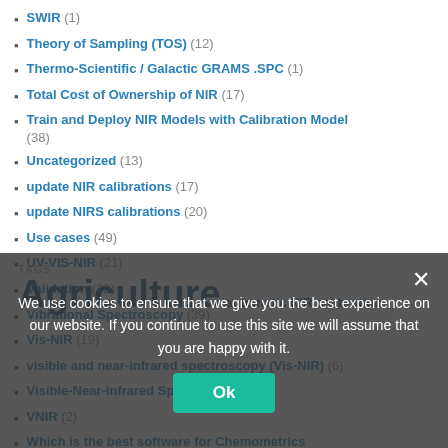SWIR (1)
Theory of Sampling (TOS) (12)
Thermo-Scientific / Galactic GRAMS .SPC (1)
Total Cost of Ownership of NIR (17)
Train and Deploy NIR Models with Calibration Model (38)
Uncategorized (13)
update NIR calibrations (17)
update NIRS calibrations (20)
Use cases (49)
UV-VIS-NIR (21)
Validation (22)
Vibrational Spectroscopy (39)
Vis-NIR (19)
visible and near-infrared spectroscopy (Vis-NIR) (6)
Visible-Near-Infrared Spectroscopy (4)
VNIR (2)
Which is the best software for Chemometrics (partially visible)
We use cookies to ensure that we give you the best experience on our website. If you continue to use this site we will assume that you are happy with it.
TAGS
Agriculture   automatic NIR calibration